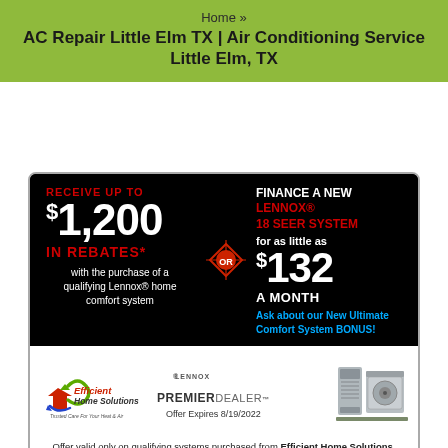Home » AC Repair Little Elm TX | Air Conditioning Service Little Elm, TX
[Figure (infographic): Lennox promotional ad: Receive up to $1,200 in rebates with purchase of qualifying Lennox home comfort system, OR finance a new Lennox 18 SEER System for as little as $132 a month. Ask about our New Ultimate Comfort System BONUS! Efficient Home Solutions, Lennox Premier Dealer. Offer Expires 8/19/2022. Offer valid only on qualifying systems purchased from Efficient Home Solutions.]